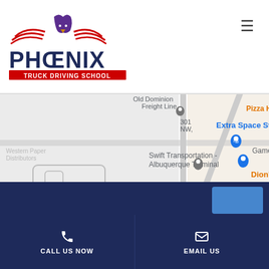[Figure (logo): Phoenix Truck Driving School Albuquerque NM logo with eagle and wings]
[Figure (map): Google Maps screenshot showing area around Phoenix Truck Driving School in Albuquerque NM, with landmarks: Old Dominion Freight Line, Swift Transportation Albuquerque Terminal, Extra Space Storage, GameStop, Dion's, Smith's Food and Drug, Legacy Church Central Campus, KFC, Flexi Compras, Wings]
CALL US NOW   EMAIL US